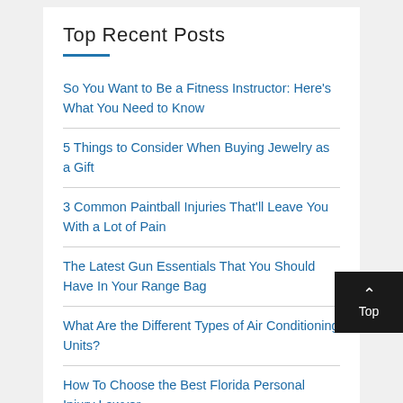Top Recent Posts
So You Want to Be a Fitness Instructor: Here's What You Need to Know
5 Things to Consider When Buying Jewelry as a Gift
3 Common Paintball Injuries That'll Leave You With a Lot of Pain
The Latest Gun Essentials That You Should Have In Your Range Bag
What Are the Different Types of Air Conditioning Units?
How To Choose the Best Florida Personal Injury Lawyer
4 Surprising Benefits of Double